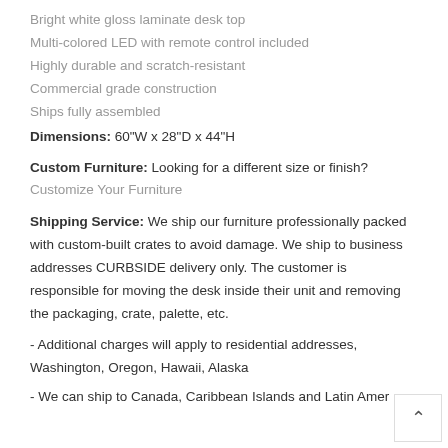Bright white gloss laminate desk top
Multi-colored LED with remote control included
Highly durable and scratch-resistant
Commercial grade construction
Ships fully assembled
Dimensions: 60"W x 28"D x 44"H
Custom Furniture: Looking for a different size or finish?
Customize Your Furniture
Shipping Service: We ship our furniture professionally packed with custom-built crates to avoid damage. We ship to business addresses CURBSIDE delivery only. The customer is responsible for moving the desk inside their unit and removing the packaging, crate, palette, etc.
- Additional charges will apply to residential addresses, Washington, Oregon, Hawaii, Alaska
- We can ship to Canada, Caribbean Islands and Latin Amer